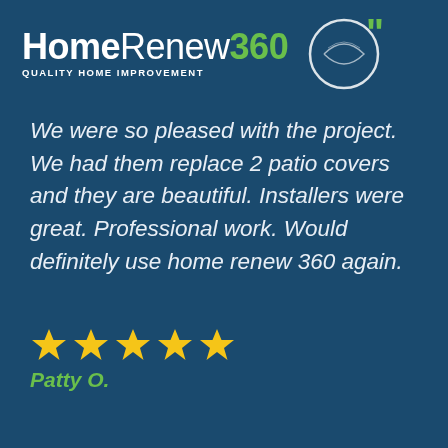[Figure (logo): HomeRenew360 logo with circular graphic and green quote marks. Text reads: Home Renew 360 with tagline QUALITY HOME IMPROVEMENT]
We were so pleased with the project. We had them replace 2 patio covers and they are beautiful. Installers were great. Professional work. Would definitely use home renew 360 again.
[Figure (other): Five gold/yellow star rating icons]
Patty O.